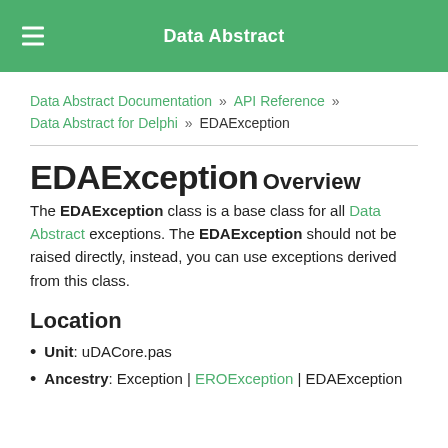Data Abstract
Data Abstract Documentation » API Reference » Data Abstract for Delphi » EDAException
EDAException
Overview
The EDAException class is a base class for all Data Abstract exceptions. The EDAException should not be raised directly, instead, you can use exceptions derived from this class.
Location
Unit: uDACore.pas
Ancestry: Exception | EROException | EDAException